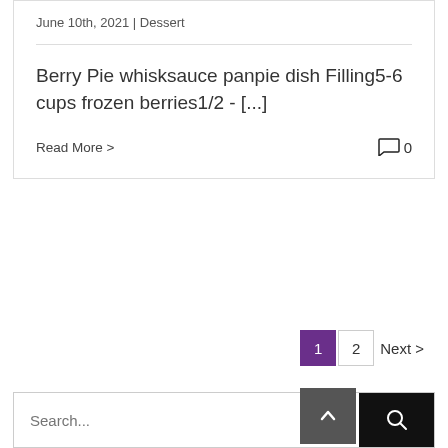June 10th, 2021 | Dessert
Berry Pie whisksauce panpie dish Filling5-6 cups frozen berries1/2 - [...]
Read More >
0
1  2  Next >
Search...